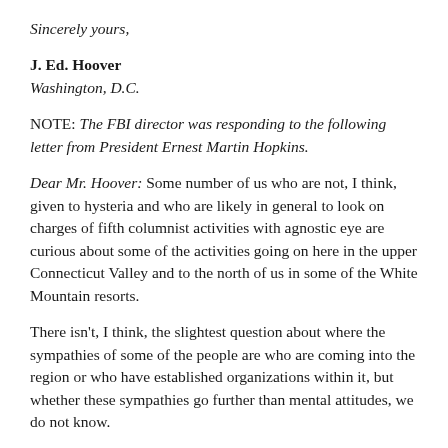Sincerely yours,
J. Ed. Hoover
Washington, D.C.
NOTE: The FBI director was responding to the following letter from President Ernest Martin Hopkins.
Dear Mr. Hoover: Some number of us who are not, I think, given to hysteria and who are likely in general to look on charges of fifth columnist activities with agnostic eye are curious about some of the activities going on here in the upper Connecticut Valley and to the north of us in some of the White Mountain resorts.
There isn't, I think, the slightest question about where the sympathies of some of the people are who are coming into the region or who have established organizations within it, but whether these sympathies go further than mental attitudes, we do not know.
At any rate, I have some data that I should be glad to turn over to responsible parties if you would advise me